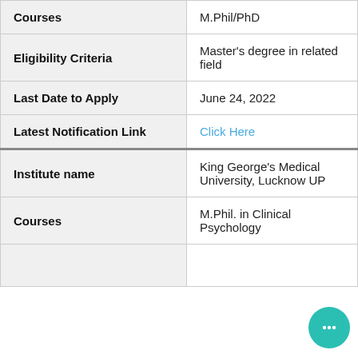| Field | Value |
| --- | --- |
| Courses | M.Phil/PhD |
| Eligibility Criteria | Master's degree in related field |
| Last Date to Apply | June 24, 2022 |
| Latest Notification Link | Click Here |
| Institute name | King George's Medical University, Lucknow UP |
| Courses | M.Phil. in Clinical Psychology |